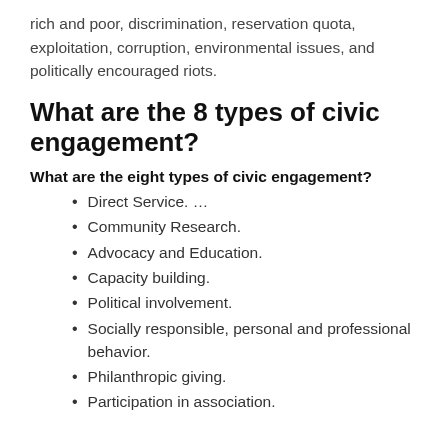rich and poor, discrimination, reservation quota, exploitation, corruption, environmental issues, and politically encouraged riots.
What are the 8 types of civic engagement?
What are the eight types of civic engagement?
Direct Service. …
Community Research.
Advocacy and Education.
Capacity building.
Political involvement.
Socially responsible, personal and professional behavior.
Philanthropic giving.
Participation in association.